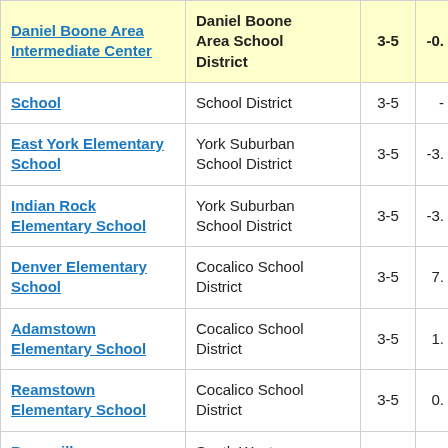| School | District | Grades | Value |
| --- | --- | --- | --- |
| Daniel Boone Area Intermediate Center | Daniel Boone Area School District | 3-5 | -0. |
| School | School District | 3-5 | - |
| East York Elementary School | York Suburban School District | 3-5 | -3. |
| Indian Rock Elementary School | York Suburban School District | 3-5 | -3. |
| Denver Elementary School | Cocalico School District | 3-5 | 7. |
| Adamstown Elementary School | Cocalico School District | 3-5 | 1. |
| Reamstown Elementary School | Cocalico School District | 3-5 | 0. |
| Baresville Elementary School | South Western School District | 3-5 | 5. |
| Manheim Elementary School | South Western School District | 3-5 | 4. |